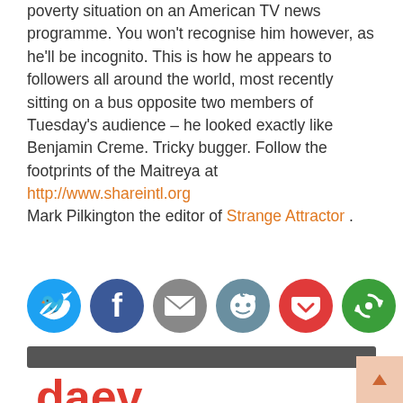poverty situation on an American TV news programme. You won't recognise him however, as he'll be incognito. This is how he appears to followers all around the world, most recently sitting on a bus opposite two members of Tuesday's audience – he looked exactly like Benjamin Creme. Tricky bugger. Follow the footprints of the Maitreya at http://www.shareintl.org
Mark Pilkington the editor of Strange Attractor .
[Figure (infographic): Social sharing icons row: Twitter (blue), Facebook (dark blue), Email (grey), Reddit (grey-blue), Pocket (red), Share (green)]
[Figure (illustration): Dark grey horizontal divider bar]
daev
[Figure (photo): Small square photo showing a person's silhouette with a bicycle on a brick or stone floor]